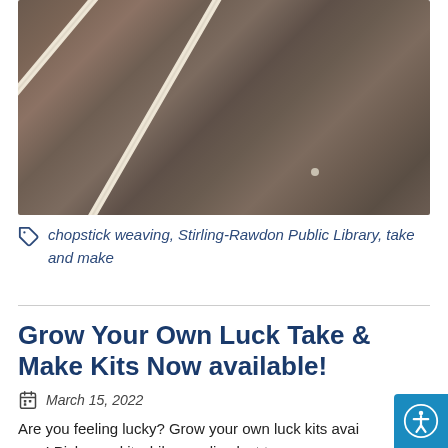[Figure (photo): Close-up photo of two light-colored wooden chopsticks on a dark brown textured surface]
chopstick weaving, Stirling-Rawdon Public Library, take and make
Grow Your Own Luck Take & Make Kits Now available!
March 15, 2022
Are you feeling lucky? Grow your own luck kits available now! Pick up a kit while supplies last to grow some